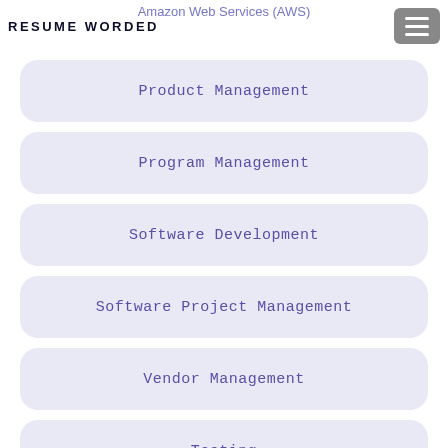Amazon Web Services (AWS) | RESUME WORDED
Product Management
Program Management
Software Development
Software Project Management
Vendor Management
Testing